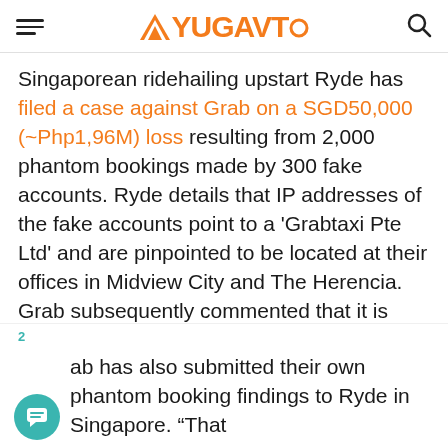YUGAVTO
Singaporean ridehailing upstart Ryde has filed a case against Grab on a SGD50,000 (~Php1,96M) loss resulting from 2,000 phantom bookings made by 300 fake accounts. Ryde details that IP addresses of the fake accounts point to a ‘Grabtaxi Pte Ltd’ and are pinpointed to be located at their offices in Midview City and The Herencia. Grab subsequently commented that it is investigating the matter.
Grab has also submitted their own phantom booking findings to Ryde in Singapore. “That